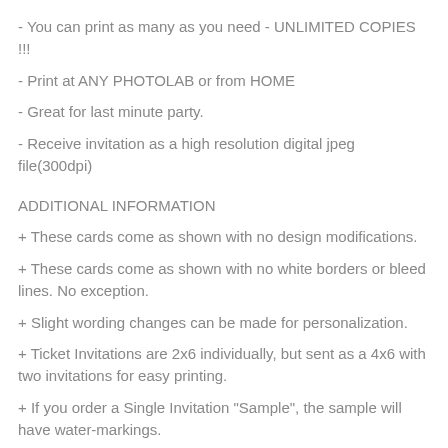- You can print as many as you need - UNLIMITED COPIES !!!
- Print at ANY PHOTOLAB or from HOME
- Great for last minute party.
- Receive invitation as a high resolution digital jpeg file(300dpi)
ADDITIONAL INFORMATION
+ These cards come as shown with no design modifications.
+ These cards come as shown with no white borders or bleed lines. No exception.
+ Slight wording changes can be made for personalization.
+ Ticket Invitations are 2x6 individually, but sent as a 4x6 with two invitations for easy printing.
+ If you order a Single Invitation "Sample", the sample will have water-markings.